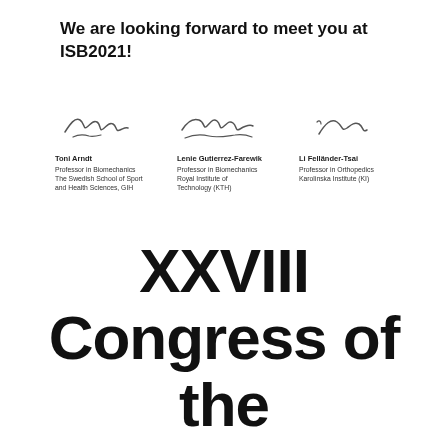We are looking forward to meet you at ISB2021!
[Figure (illustration): Three handwritten signatures of Toni Arndt, Lenie Gutierrez-Farewik, and Li Felländer-Tsai]
Toni Arndt
Professor in Biomechanics
The Swedish School of Sport and Health Sciences, GIH
Lenie Gutierrez-Farewik
Professor in Biomechanics
Royal Institute of Technology (KTH)
Li Felländer-Tsai
Professor in Orthopedics
Karolinska Institute (KI)
XXVIII Congress of the International Society of Biomechanics (ISB)